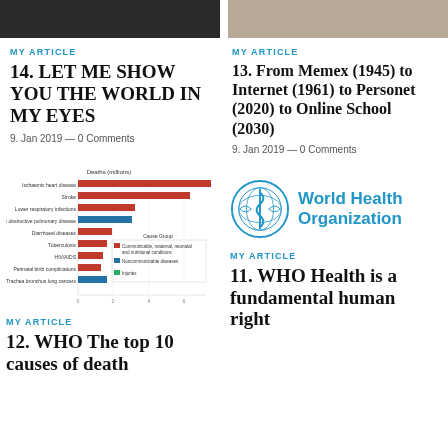[Figure (photo): Top banner images — two photographs at top of page (dark image left, lighter image right)]
MY ARTICLE
14. LET ME SHOW YOU THE WORLD IN MY EYES
9. Jan 2019 — 0 Comments
MY ARTICLE
13. From Memex (1945) to Internet (1961) to Personet (2020) to Online School (2030)
9. Jan 2019 — 0 Comments
[Figure (bar-chart): Horizontal bar chart showing top 10 causes of death with colored bars (red for communicable/maternal/neonatal/nutritional, blue for noncommunicable diseases, green for injuries)]
[Figure (logo): World Health Organization logo with emblem and blue text]
MY ARTICLE
12. WHO The top 10 causes of death
MY ARTICLE
11. WHO Health is a fundamental human right